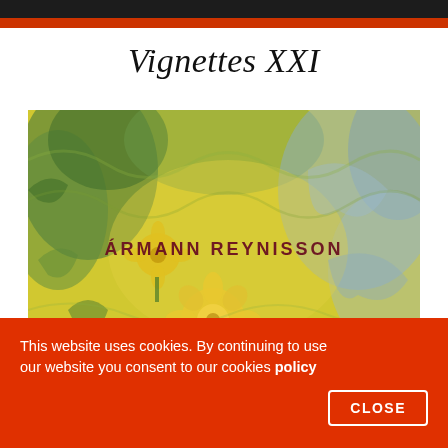[Figure (photo): Top banner with dark photo strip and red band beneath]
Vignettes XXI
[Figure (illustration): Impressionist-style painting of yellow flowers and green/blue foliage with text 'ÁRMANN REYNISSON' overlaid in dark red capitals in the center]
This website uses cookies. By continuing to use our website you consent to our cookies policy